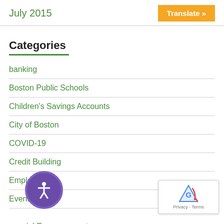July 2015
Categories
banking
Boston Public Schools
Children's Savings Accounts
City of Boston
COVID-19
Credit Building
Employment
Event
Financial Empowerment
Financial Literacy